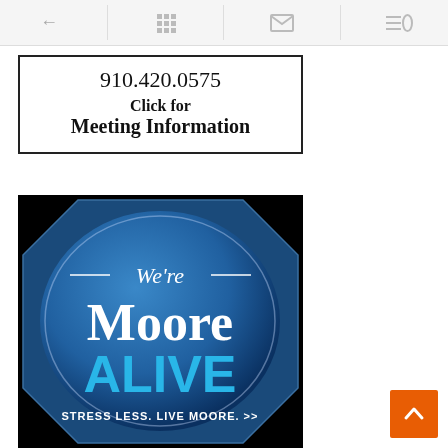← [grid] [mail] [menu/search]
910.420.0575
Click for
Meeting Information
[Figure (logo): We're Moore ALIVE badge logo on black background — blue octagonal badge with text: '— We're —' in white script, 'Moore' in large white serif, 'ALIVE' in large cyan bold, 'STRESS LESS. LIVE MOORE. >>' in small white text]
[Figure (other): Orange scroll-to-top button with white upward chevron arrow]